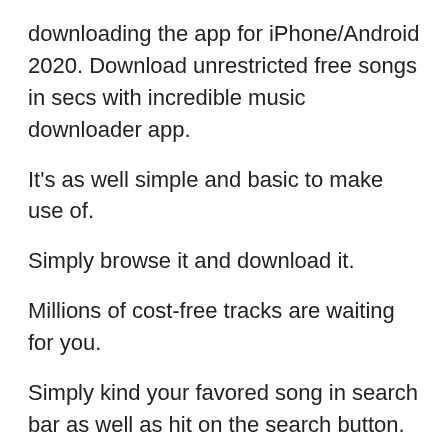downloading the app for iPhone/Android 2020. Download unrestricted free songs in secs with incredible music downloader app.
It's as well simple and basic to make use of.
Simply browse it and download it.
Millions of cost-free tracks are waiting for you.
Simply kind your favored song in search bar as well as hit on the search button.
Currently, your track appears on search engine result hit on download switch and your song started downloading and install.
Currently, pay attention whenever you want.